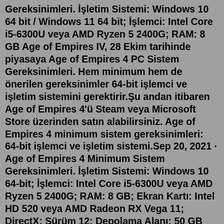Gereksinimleri. İşletim Sistemi: Windows 10 64 bit / Windows 11 64 bit; İşlemci: Intel Core i5-6300U veya AMD Ryzen 5 2400G; RAM: 8 GB Age of Empires IV, 28 Ekim tarihinde piyasaya Age of Empires 4 PC Sistem Gereksinimleri. Hem minimum hem de önerilen gereksinimler 64-bit işlemci ve işletim sistemini gerektirir.Şu andan itibaren Age of Empires 4'ü Steam veya Microsoft Store üzerinden satın alabilirsiniz. Age of Empires 4 minimum sistem gereksinimleri: 64-bit işlemci ve işletim sistemi.Sep 20, 2021 · Age of Empires 4 Minimum Sistem Gereksinimleri. İşletim Sistemi: Windows 10 64-bit; İşlemci: Intel Core i5-6300U veya AMD Ryzen 5 2400G; RAM: 8 GB; Ekran Kartı: Intel HD 520 veya AMD Radeon RX Vega 11; DirectX: Sürüm 12; Depolama Alanı: 50 GB kullanılabilir alan; Age of Empires 4 Önerilen Sistem Gereksinimleri. İşletim Sistemi ... Sistem gereksinimleri üzerine aradığınız her şey burada. Hearths of Iron 4 sistem gereksinimleri yönünden strateji oyunlarını seven